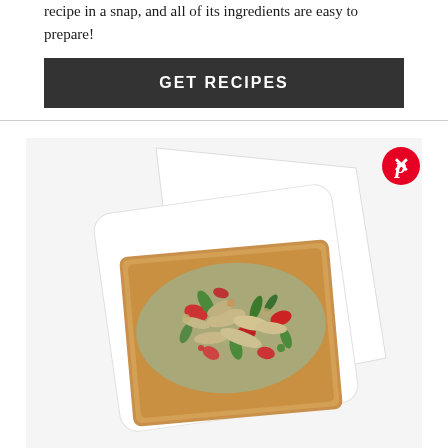recipe in a snap, and all of its ingredients are easy to prepare!
GET RECIPES
[Figure (photo): Tuna or chicken salad with red peppers, green onions, and herbs served on toasted bread on a white plate, viewed from above.]